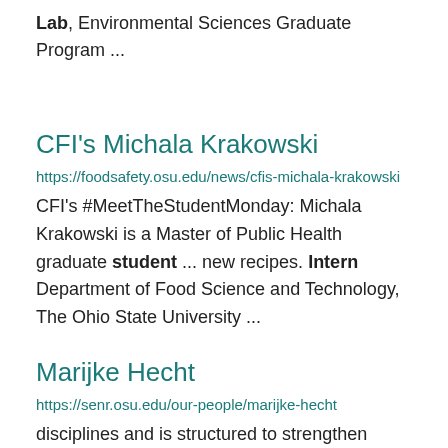Lab, Environmental Sciences Graduate Program ...
CFI's Michala Krakowski
https://foodsafety.osu.edu/news/cfis-michala-krakowski
CFI's #MeetTheStudentMonday: Michala Krakowski is a Master of Public Health graduate student ... new recipes. Intern Department of Food Science and Technology, The Ohio State University ...
Marijke Hecht
https://senr.osu.edu/our-people/marijke-hecht
disciplines and is structured to strengthen